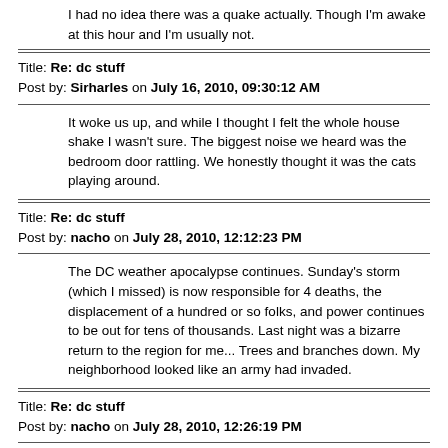I had no idea there was a quake actually. Though I'm awake at this hour and I'm usually not.
Title: Re: dc stuff
Post by: Sirharles on July 16, 2010, 09:30:12 AM
It woke us up, and while I thought I felt the whole house shake I wasn't sure.  The biggest noise we heard was the bedroom door rattling.  We honestly thought it was the cats playing around.
Title: Re: dc stuff
Post by: nacho on July 28, 2010, 12:12:23 PM
The DC weather apocalypse continues.  Sunday's storm (which I missed) is now responsible for 4 deaths, the displacement of a hundred or so folks, and power continues to be out for tens of thousands.  Last night was a bizarre return to the region for me... Trees and branches down.  My neighborhood looked like an army had invaded.
Title: Re: dc stuff
Post by: nacho on July 28, 2010, 12:26:19 PM
Storm footage?  Anyone else find any more?